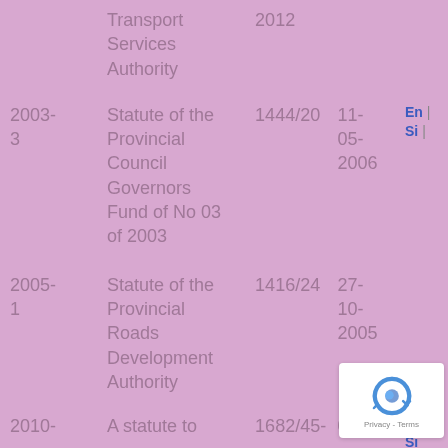| No. | Title | Gazette No. | Date | Language |
| --- | --- | --- | --- | --- |
|  | Transport Services Authority | 2012 |  |  |
| 2003-3 | Statute of the Provincial Council Governors Fund of No 03 of 2003 | 1444/20 | 11-05-2006 | En | Si | |
| 2005-1 | Statute of the Provincial Roads Development Authority | 1416/24 | 27-10-2005 |  |
| 2010- | A statute to... | 1682/45- | 02- | En | Si |